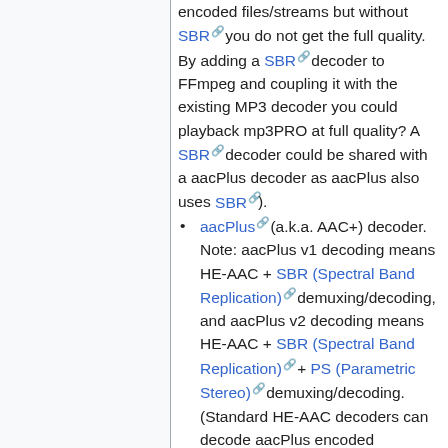encoded files/streams but without SBR you do not get the full quality. By adding a SBR decoder to FFmpeg and coupling it with the existing MP3 decoder you could playback mp3PRO at full quality? A SBR decoder could be shared with a aacPlus decoder as aacPlus also uses SBR).
aacPlus (a.k.a. AAC+) decoder. Note: aacPlus v1 decoding means HE-AAC + SBR (Spectral Band Replication) demuxing/decoding, and aacPlus v2 decoding means HE-AAC + SBR (Spectral Band Replication) + PS (Parametric Stereo) demuxing/decoding. (Standard HE-AAC decoders can decode aacPlus encoded files/streams but without SBR and